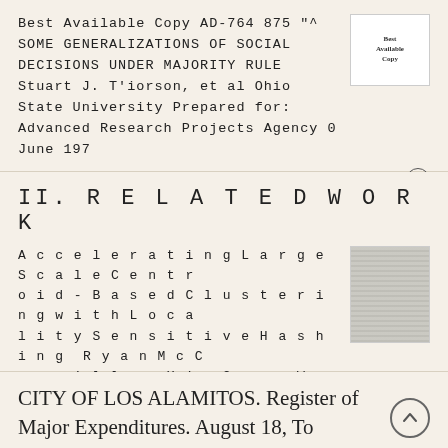Best Available Copy AD-764 875 "^ SOME GENERALIZATIONS OF SOCIAL DECISIONS UNDER MAJORITY RULE Stuart J. T'iorson, et al Ohio State University Prepared for: Advanced Research Projects Agency 0 June 197
More information →
II. R E L A T E D W O R K
A c c e l e r a t i n g L a r g e S c a l e C e n t r o i d - B a s e d C l u s t e r i n g w i t h L o c a l i t y S e n s i t i v e H a s h i n g R y a n M c C o n v i l l e , X i n C a o , W e i r u L
More information →
CITY OF LOS ALAMITOS. Register of Major Expenditures. August 18, To Approve. To Ratify